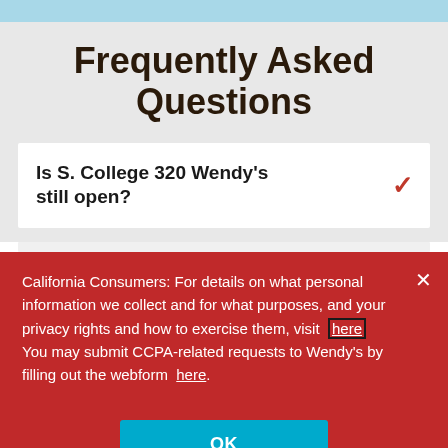Frequently Asked Questions
Is S. College 320 Wendy's still open?
California Consumers: For details on what personal information we collect and for what purposes, and your privacy rights and how to exercise them, visit here You may submit CCPA-related requests to Wendy's by filling out the webform here.